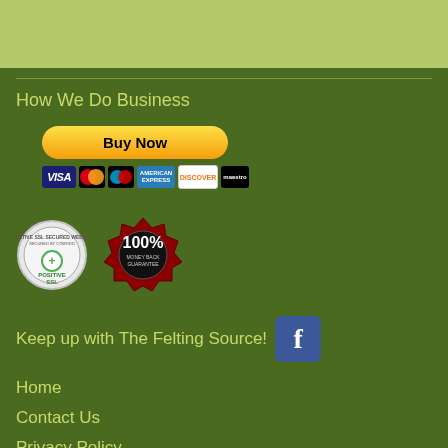[Figure (other): Light olive/yellow-green header bar]
How We Do Business
[Figure (other): PayPal Buy Now button with credit card icons: Visa, Mastercard, Maestro, American Express, Discover, Maestro]
[Figure (other): Positive SSL secured website badge and 100% Money Back Guarantee badge]
Keep up with The Felting Source!
[Figure (other): Facebook icon/logo]
Home
Contact Us
Privacy Policy